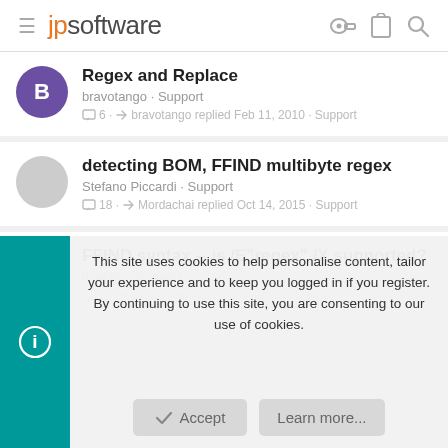jpsoftware
Regex and Replace
bravotango · Support
6 · bravotango replied Feb 11, 2010 · Support
detecting BOM, FFIND multibyte regex
Stefano Piccardi · Support
18 · Mordachai replied Oct 14, 2015 · Support
FFIND syntax -- is /E"regex" /X supported?
dcantor · Support
2 · dcantor replied Aug 17, 2009 · Support
This site uses cookies to help personalise content, tailor your experience and to keep you logged in if you register.
By continuing to use this site, you are consenting to our use of cookies.